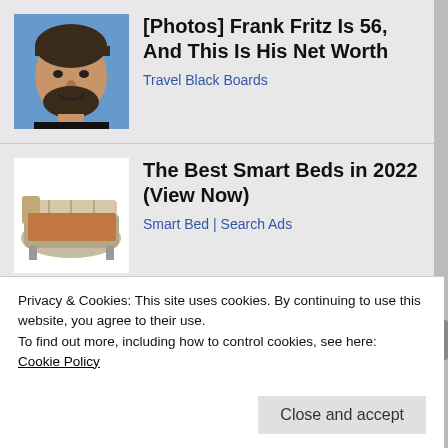[Figure (photo): Thumbnail photo of a man (Frank Fritz) with dark hair and beard]
[Photos] Frank Fritz Is 56, And This Is His Net Worth
Travel Black Boards
[Figure (photo): Thumbnail photo of a smart bed with multiple sections and adjustable features]
The Best Smart Beds in 2022 (View Now)
Smart Bed | Search Ads
[Figure (illustration): Banner ad for Marvel Strike Force with Thor Love and Thunder branding, characters in purple cosmic background]
Privacy & Cookies: This site uses cookies. By continuing to use this website, you agree to their use.
To find out more, including how to control cookies, see here:
Cookie Policy
Close and accept